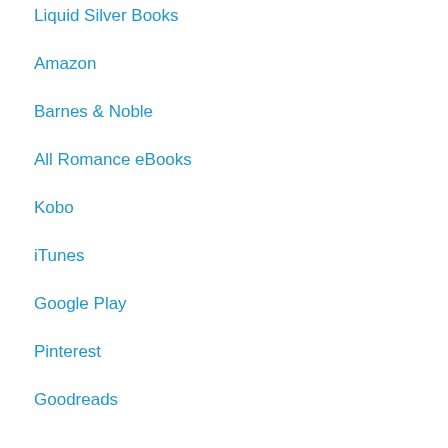Liquid Silver Books
Amazon
Barnes & Noble
All Romance eBooks
Kobo
iTunes
Google Play
Pinterest
Goodreads